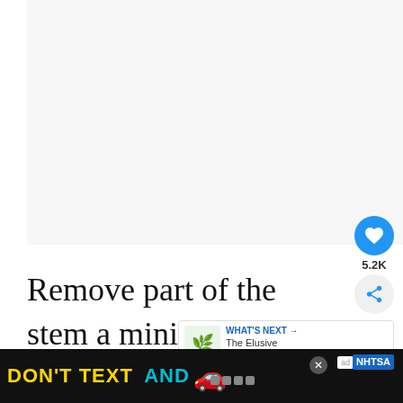[Figure (photo): Large mostly white/light gray image placeholder area at top of page]
Remove part of the stem a minimum of four inches long, right below a leaf node (where the leaf meets the stem). For the high chances of rooting, your cutting should have at
[Figure (other): WHAT'S NEXT arrow callout with snake plant thumbnail: 'The Elusive Snake Plant...']
[Figure (other): Advertisement banner: DON'T TEXT AND [car emoji] with NHTSA branding]